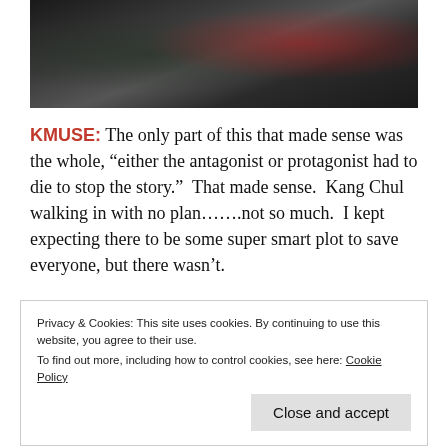[Figure (photo): Dark photo showing people, one appearing to have blood on their clothing]
KMUSE: The only part of this that made sense was the whole, “either the antagonist or protagonist had to die to stop the story.”  That made sense.  Kang Chul walking in with no plan……..not so much.  I kept expecting there to be some super smart plot to save everyone, but there wasn’t.
Privacy & Cookies: This site uses cookies. By continuing to use this website, you agree to their use.
To find out more, including how to control cookies, see here: Cookie Policy
Close and accept